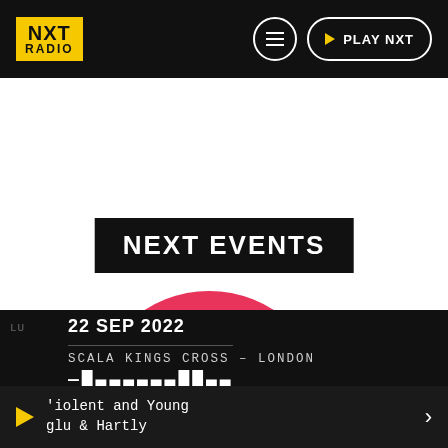[Figure (logo): NXT Radio logo - yellow box with NXT RADIO text in black, on dark header bar with menu and PLAY NXT buttons]
NEXT EVENTS
[Figure (illustration): Large pink/coral circle ring graphic partially visible]
22 SEP 2022
SCALA KINGS CROSS – LONDON
'iolent and Young
glu & Hartly